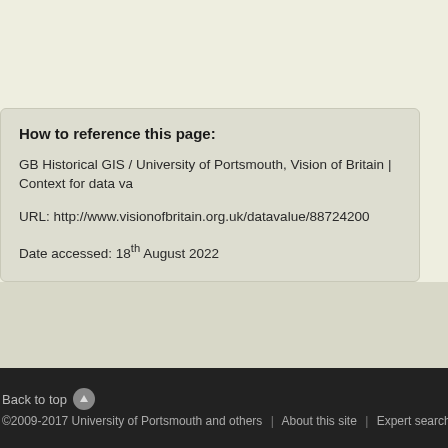How to reference this page:
GB Historical GIS / University of Portsmouth, Vision of Britain | Context for data va
URL: http://www.visionofbritain.org.uk/datavalue/88724200
Date accessed: 18th August 2022
Back to top | ©2009-2017 University of Portsmouth and others | About this site | Expert search | Web